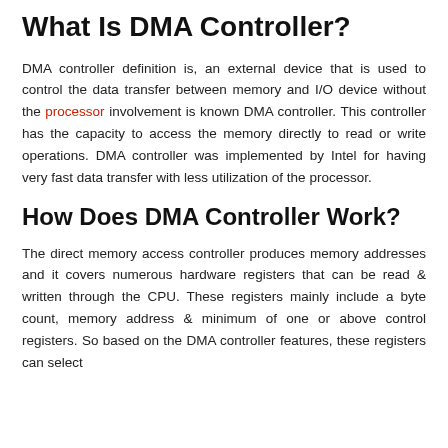What Is DMA Controller?
DMA controller definition is, an external device that is used to control the data transfer between memory and I/O device without the processor involvement is known DMA controller. This controller has the capacity to access the memory directly to read or write operations. DMA controller was implemented by Intel for having very fast data transfer with less utilization of the processor.
How Does DMA Controller Work?
The direct memory access controller produces memory addresses and it covers numerous hardware registers that can be read & written through the CPU. These registers mainly include a byte count, memory address & minimum of one or above control registers. So based on the DMA controller features, these registers can select